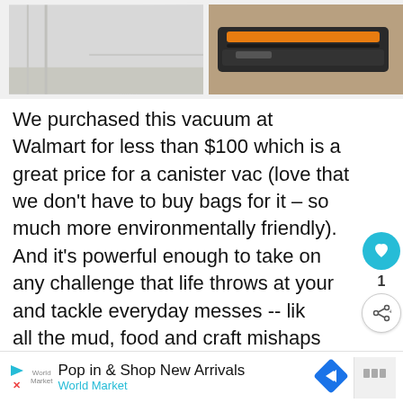[Figure (photo): Two photos side by side at top: left photo shows a hallway/floor (gray/light), right photo shows a vacuum cleaner on carpet (orange/black device on brown carpet)]
We purchased this vacuum at Walmart for less than $100 which is a great price for a canister vac (love that we don't have to buy bags for it – so much more environmentally friendly).  And it's powerful enough to take on any challenge that life throws at your and tackle everyday messes -- like all the mud, food and craft mishaps that happen on a daily basis in our house ;)
[Figure (infographic): WHAT'S NEXT arrow label with magnifying glass icon and text: Science Projects for...]
[Figure (photo): Strip of photos showing people in a room/classroom setting]
[Figure (screenshot): Advertisement bar: Pop in & Shop New Arrivals - World Market, with play/close icons, blue diamond arrow logo, and brand icon on right]